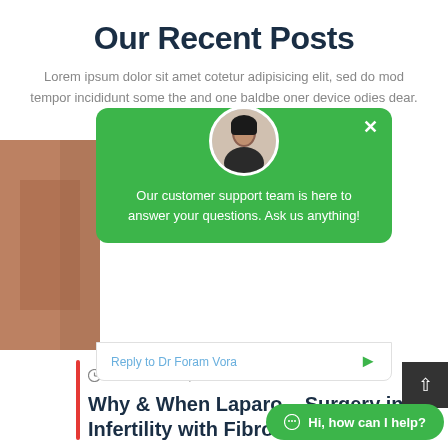Our Recent Posts
Lorem ipsum dolor sit amet cotetur adipisicing elit, sed do mod tempor incididunt some the and one baldbe oner device odies dear.
[Figure (screenshot): Green chat support popup with avatar photo, close button (×), and message: 'Our customer support team is here to answer your questions. Ask us anything!']
Reply to Dr Foram Vora
June 7, 2022   0 Comment
Why & When Laparo... Surgery in Infertility with Fibroid
Hi, how can I help?